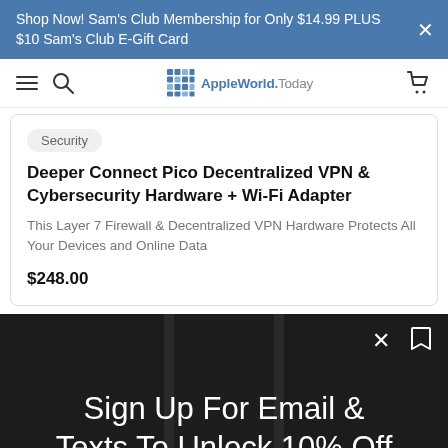Shop Now! Sam's Club Membership for Only $14.99 PLUS $10 Sam's Club E-Gift Card
[Figure (screenshot): AppleWorld.Today website navigation bar with hamburger menu, search icon, logo, and cart icon]
Security
Deeper Connect Pico Decentralized VPN & Cybersecurity Hardware + Wi-Fi Adapter
This Layer 7 Firewall & Decentralized VPN Hardware Protects All Your Devices and Online Data
$248.00
Sign Up For Email & Texts To Unlock 10% Off